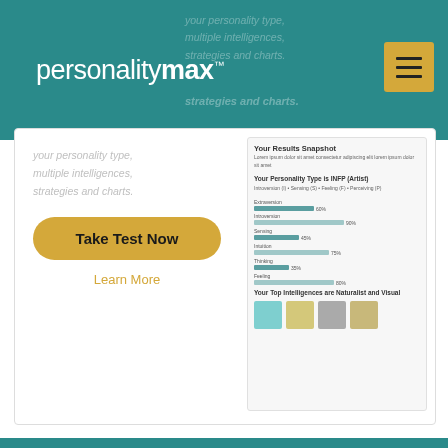[Figure (screenshot): PersonalityMax website header with teal background, logo, and navigation menu button]
[Figure (screenshot): Promotional card with 'Take Test Now' button, 'Learn More' link, and personality results snapshot preview]
Terms & Conditions   Privacy Policy   Copyright Policy
CCPA (Do Not Sell)   About Us
© 2022 BTK21 Web AG
AN ELITE CAFEMEDIA PUBLISHER
[Figure (screenshot): Walgreens advertisement: Ashburn OPEN 8AM-10PM, 20321 Susan Leslie Dr, Ashburn]